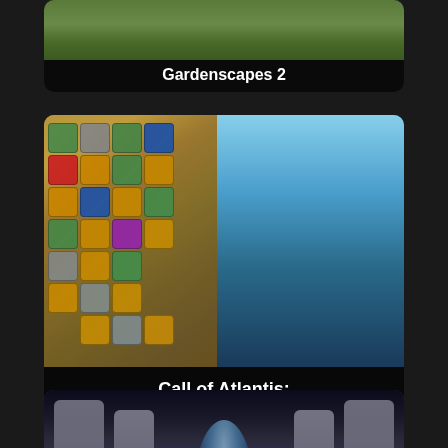[Figure (screenshot): Partial game card for Gardenscapes 2 showing title label at top]
Gardenscapes 2
[Figure (screenshot): Game card for Call of Atlantis: Treasures of Poseidon showing match-3 puzzle grid on left and Zeus statue on right with game title overlay at bottom]
Call of Atlantis:
Treasures of Poseidon
[Figure (screenshot): Partial game card showing a corridor temple scene with statues on both sides, glowing path in center, and PLAY button text in orange]
Golden Trail 2